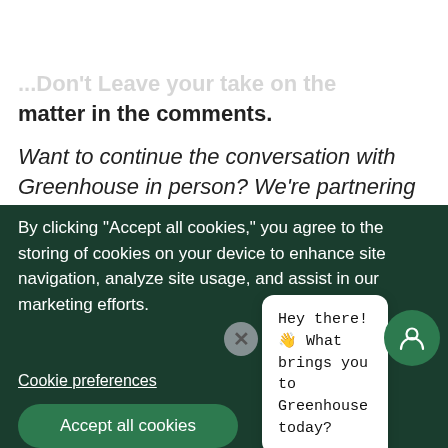Greenhouse logo, search and menu icons
...Don't Leave your take on the matter in the comments.
Want to continue the conversation with Greenhouse in person? We're partnering
By clicking “Accept all cookies,” you agree to the storing of cookies on your device to enhance site navigation, analyze site usage, and assist in our marketing efforts.
Cookie preferences
Accept all cookies
Hey there! 👋 What brings you to Greenhouse today?